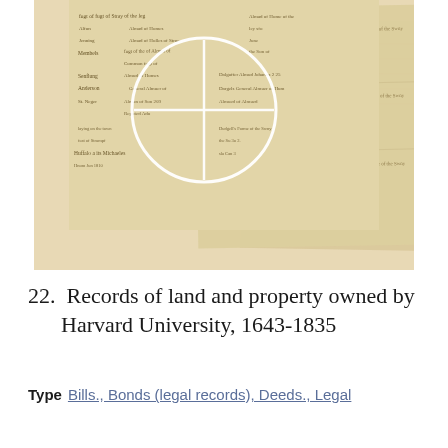[Figure (photo): Photograph of overlapping old handwritten manuscript pages (historical documents), with a white circle and crosshair overlay highlighting a section. The pages appear to be aged, brown/sepia-toned legal or property records from the 17th-19th century.]
22.  Records of land and property owned by Harvard University, 1643-1835
Type   Bills., Bonds (legal records), Deeds., Legal